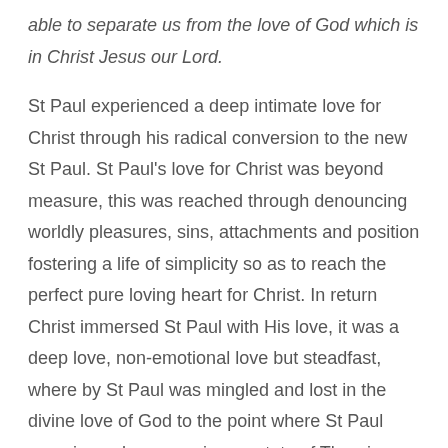able to separate us from the love of God which is in Christ Jesus our Lord.
St Paul experienced a deep intimate love for Christ through his radical conversion to the new St Paul. St Paul's love for Christ was beyond measure, this was reached through denouncing worldly pleasures, sins, attachments and position fostering a life of simplicity so as to reach the perfect pure loving heart for Christ. In return Christ immersed St Paul with His love, it was a deep love, non-emotional love but steadfast, where by St Paul was mingled and lost in the divine love of God to the point where St Paul experienced on occasions a state of Theoria as he describes it in 2 Corinthians 12:2-4, that he was taken up to Paradise and saw and heard things he could not describe in words, things that man is not permitted to tell.
With this kind of love, nothing can separate us from the love of God, and our tolerance to tribulation, suffering, loneliness and